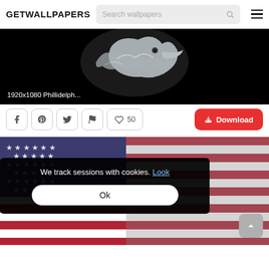GETWALLPAPERS
[Figure (screenshot): Partial wallpaper image showing Philadelphia Eagles logo on black background with caption '1920x1080 Phillidelph...']
1920x1080 Phillidelph...
50   Download
[Figure (photo): Philadelphia Eagles / American flag themed wallpaper with cookie consent overlay reading 'We track sessions with cookies. Look' and an 'Ok' button, plus a back-to-top arrow button.]
We track sessions with cookies.  Look
Ok